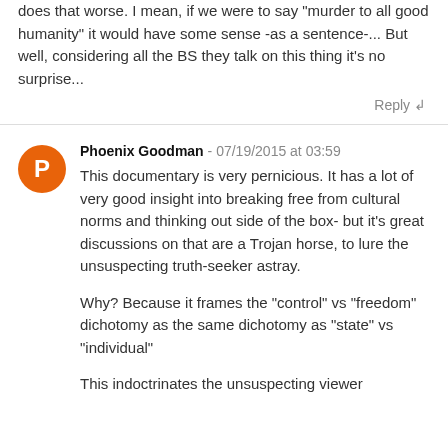does that worse. I mean, if we were to say "murder to all good humanity" it would have some sense -as a sentence-... But well, considering all the BS they talk on this thing it's no surprise...
Reply ↲
Phoenix Goodman - 07/19/2015 at 03:59
This documentary is very pernicious. It has a lot of very good insight into breaking free from cultural norms and thinking out side of the box- but it's great discussions on that are a Trojan horse, to lure the unsuspecting truth-seeker astray.
Why? Because it frames the "control" vs "freedom" dichotomy as the same dichotomy as "state" vs "individual"
This indoctrinates the unsuspecting viewer